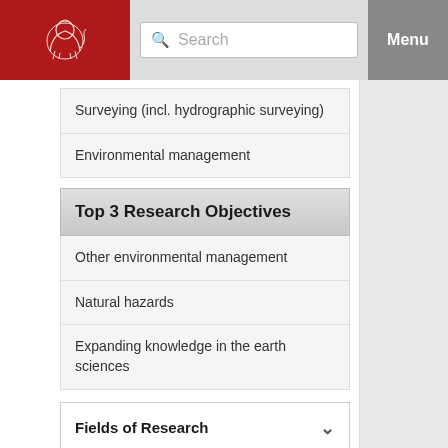Search | Menu
Surveying (incl. hydrographic surveying)
Environmental management
Top 3 Research Objectives
Other environmental management
Natural hazards
Expanding knowledge in the earth sciences
Fields of Research
Research Objectives